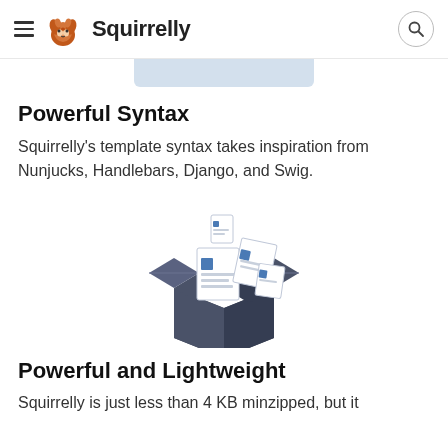Squirrelly
[Figure (illustration): Partial blue/gray hero image visible at the top of the content area]
Powerful Syntax
Squirrelly's template syntax takes inspiration from Nunjucks, Handlebars, Django, and Swig.
[Figure (illustration): Open cardboard box with document/window icons floating out of it, in a dark blue-gray color scheme]
Powerful and Lightweight
Squirrelly is just less than 4 KB minzipped, but it...